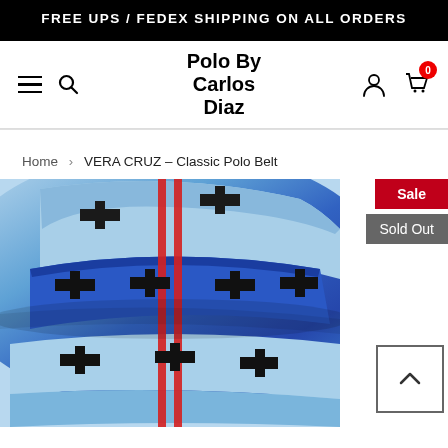FREE UPS / FEDEX SHIPPING ON ALL ORDERS
Polo By Carlos Diaz
Home > VERA CRUZ - Classic Polo Belt
[Figure (photo): Close-up photo of a colorful polo belt with blue, light blue, black geometric/aztec pattern and red stripes, folded and coiled]
Sale
Sold Out